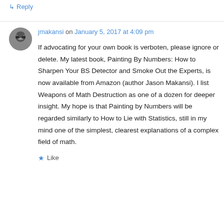↳ Reply
jmakansi on January 5, 2017 at 4:09 pm
If advocating for your own book is verboten, please ignore or delete. My latest book, Painting By Numbers: How to Sharpen Your BS Detector and Smoke Out the Experts, is now available from Amazon (author Jason Makansi). I list Weapons of Math Destruction as one of a dozen for deeper insight. My hope is that Painting by Numbers will be regarded similarly to How to Lie with Statistics, still in my mind one of the simplest, clearest explanations of a complex field of math.
★ Like